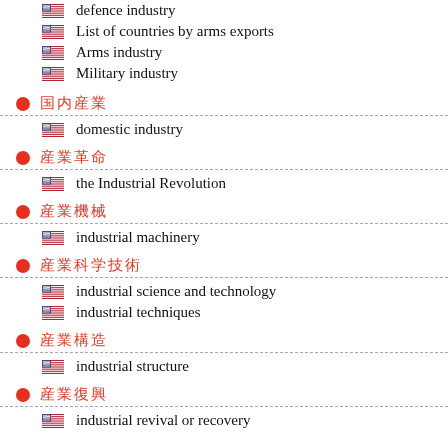defence industry
List of countries by arms exports
Arms industry
Military industry
国内産業 / domestic industry
産業革命 / the Industrial Revolution
産業機械 / industrial machinery
産業科学技術 / industrial science and technology, industrial techniques
産業構造 / industrial structure
産業復興 / industrial revival or recovery